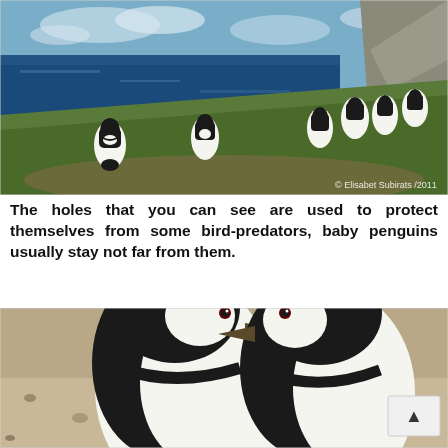[Figure (photo): Group of Magellanic penguins standing on a grassy coastal hillside with the ocean and rocky cliffs in the background. Copyright watermark reads: © Elisabet Subirats /2011]
The holes that you can see are used to protect themselves from some bird-predators, baby penguins usually stay not far from them.
[Figure (photo): Close-up of two Magellanic penguins facing each other on a sandy/pebbly ground. A scroll-to-top button is visible in the bottom right corner.]